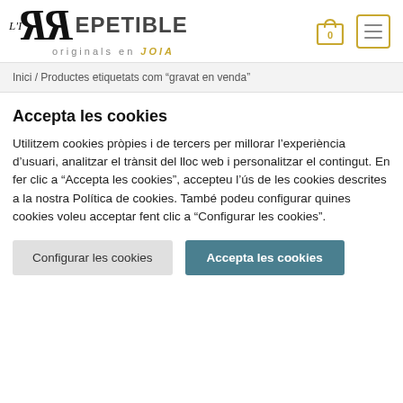[Figure (logo): L'Irrepetible originals en JOIA logo with stylized mirrored RR letters]
Inici / Productes etiquetats com "gravat en venda"
Accepta les cookies
Utilitzem cookies pròpies i de tercers per millorar l'experiència d'usuari, analitzar el trànsit del lloc web i personalitzar el contingut. En fer clic a "Accepta les cookies", accepteu l'ús de les cookies descrites a la nostra Política de cookies. També podeu configurar quines cookies voleu acceptar fent clic a "Configurar les cookies".
Configurar les cookies | Accepta les cookies